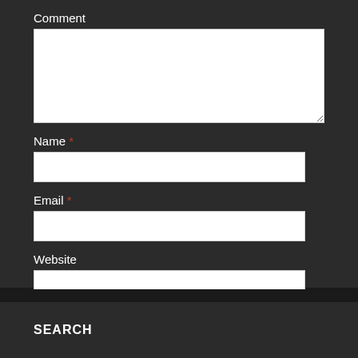Comment
[Figure (screenshot): Comment textarea input field (empty)]
Name *
[Figure (screenshot): Name text input field (empty)]
Email *
[Figure (screenshot): Email text input field (empty)]
Website
[Figure (screenshot): Website text input field (empty)]
POST COMMENT
SEARCH